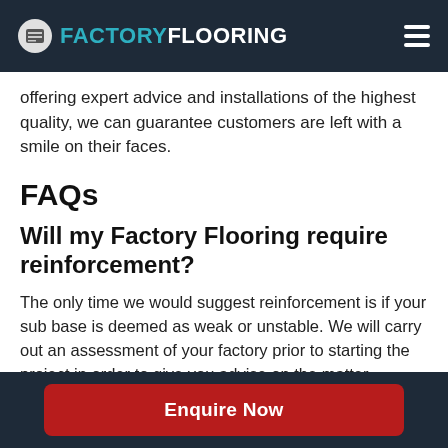FACTORYFLOORING
offering expert advice and installations of the highest quality, we can guarantee customers are left with a smile on their faces.
FAQs
Will my Factory Flooring require reinforcement?
The only time we would suggest reinforcement is if your sub base is deemed as weak or unstable. We will carry out an assessment of your factory prior to starting the project in order to give you advise on the matter.
Enquire Now